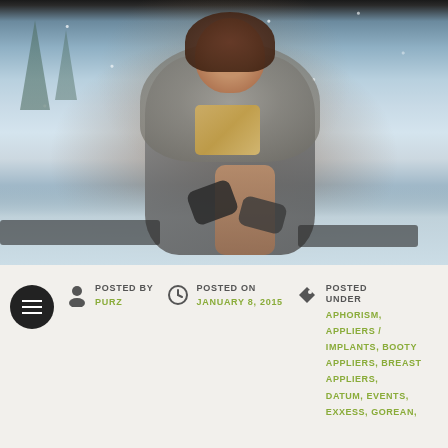[Figure (photo): Digital avatar / virtual world character: a woman with brown hair wearing a grey fur coat, standing in a snowy winter scene with trees in the background. Snowflakes visible in the air.]
POSTED BY
PURZ
POSTED ON
JANUARY 8, 2015
POSTED UNDER
APHORISM, APPLIERS / IMPLANTS, BOOTY APPLIERS, BREAST APPLIERS, DATUM, EVENTS, EXXESS, GOREAN,